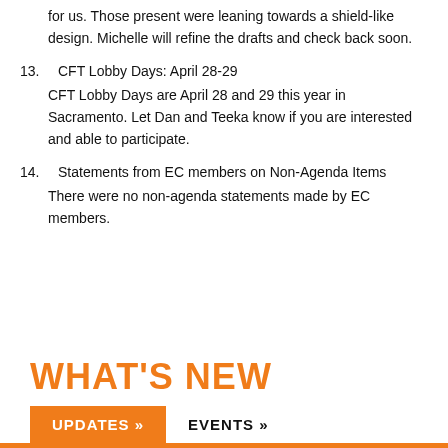for us. Those present were leaning towards a shield-like design. Michelle will refine the drafts and check back soon.
13.  CFT Lobby Days: April 28-29
CFT Lobby Days are April 28 and 29 this year in Sacramento. Let Dan and Teeka know if you are interested and able to participate.
14.  Statements from EC members on Non-Agenda Items
There were no non-agenda statements made by EC members.
WHAT'S NEW
UPDATES »  EVENTS »